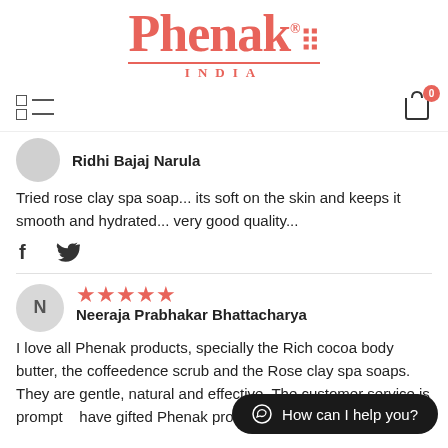[Figure (logo): Phenak India brand logo in coral/salmon red color, serif font, with registered trademark symbol and decorative dots, underline and INDIA text below]
[Figure (infographic): Navigation bar with menu icon (grid+lines) on left and shopping cart icon with badge showing 0 on right]
Ridhi Bajaj Narula
Tried rose clay spa soap... its soft on the skin and keeps it smooth and hydrated... very good quality...
[Figure (infographic): Social share icons: Facebook (f) and Twitter (bird)]
Neeraja Prabhakar Bhattacharya
I love all Phenak products, specially the Rich cocoa body butter, the coffeedence scrub and the Rose clay spa soaps. They are gentle, natural and effective. The customer service is prompt... have gifted Phenak produc... as well.
How can I help you?